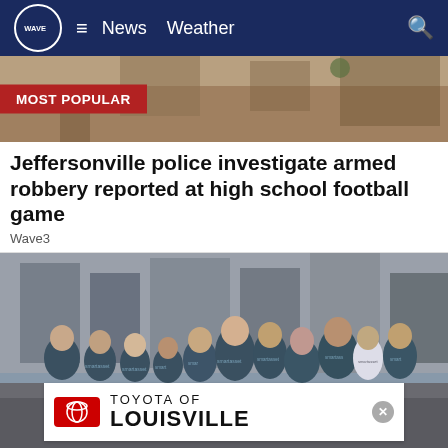WAVE — News  Weather
[Figure (screenshot): MOST POPULAR banner with background street scene image]
Jeffersonville police investigate armed robbery reported at high school football game
Wave3
[Figure (photo): Group of about 12 people in matching dark blue 'smartasset' t-shirts posing on a city street]
[Figure (logo): Toyota of Louisville advertisement banner with red Toyota logo, text 'TOYOTA OF LOUISVILLE']